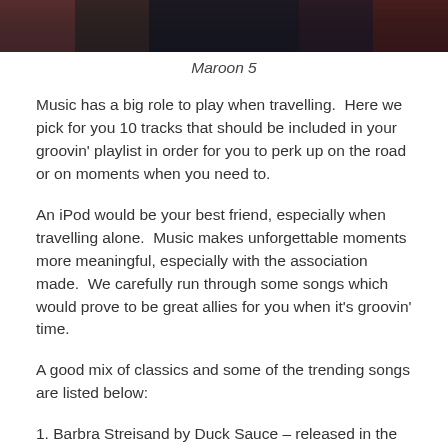[Figure (photo): Partial photograph of people (likely the band Maroon 5) standing in a row, cropped showing lower bodies in suits]
Maroon 5
Music has a big role to play when travelling.  Here we pick for you 10 tracks that should be included in your groovin' playlist in order for you to perk up on the road or on moments when you need to.
An iPod would be your best friend, especially when travelling alone.  Music makes unforgettable moments more meaningful, especially with the association made.  We carefully run through some songs which would prove to be great allies for you when it's groovin' time.
A good mix of classics and some of the trending songs are listed below:
1. Barbra Streisand by Duck Sauce – released in the summer of 2010 and gained heavy DJ and radio support